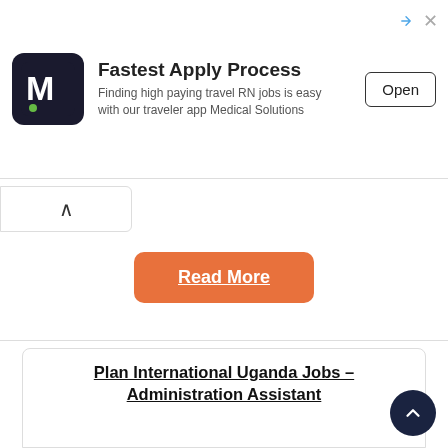[Figure (screenshot): Ad banner with 'M' logo for Medical Solutions - Fastest Apply Process]
Fastest Apply Process
Finding high paying travel RN jobs is easy with our traveler app Medical Solutions
Open
[Figure (screenshot): Back/up chevron button on left side]
Read More
Plan International Uganda Jobs – Administration Assistant
[Figure (logo): Plan International logo - blue circle with child figure reaching for sun, and 'Plan' text in blue]